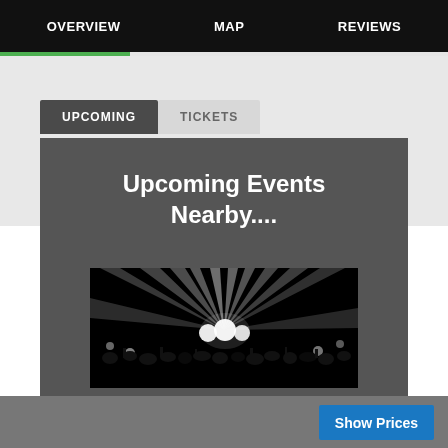OVERVIEW   MAP   REVIEWS
UPCOMING   TICKETS
Upcoming Events Nearby....
[Figure (photo): Black and white photo of a concert with dramatic stage lighting rays and crowd silhouettes]
Show Prices